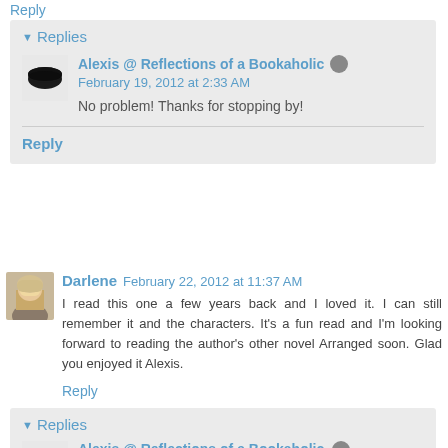Reply
Replies
Alexis @ Reflections of a Bookaholic
February 19, 2012 at 2:33 AM
No problem! Thanks for stopping by!
Reply
Darlene  February 22, 2012 at 11:37 AM
I read this one a few years back and I loved it. I can still remember it and the characters. It's a fun read and I'm looking forward to reading the author's other novel Arranged soon. Glad you enjoyed it Alexis.
Reply
Replies
Alexis @ Reflections of a Bookaholic